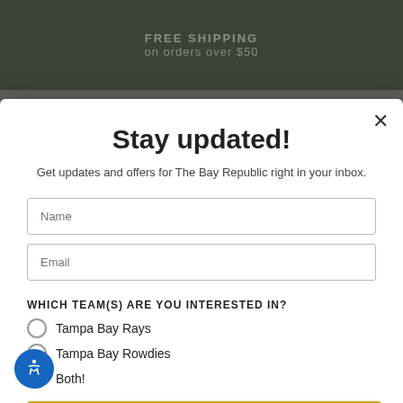FREE SHIPPING
on orders over $50
Stay updated!
Get updates and offers for The Bay Republic right in your inbox.
Name
Email
WHICH TEAM(S) ARE YOU INTERESTED IN?
Tampa Bay Rays
Tampa Bay Rowdies
Both!
Subscribe
No, thanks